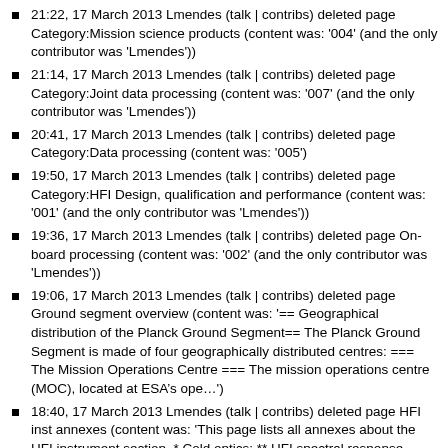21:22, 17 March 2013 Lmendes (talk | contribs) deleted page Category:Mission science products (content was: '004' (and the only contributor was 'Lmendes'))
21:14, 17 March 2013 Lmendes (talk | contribs) deleted page Category:Joint data processing (content was: '007' (and the only contributor was 'Lmendes'))
20:41, 17 March 2013 Lmendes (talk | contribs) deleted page Category:Data processing (content was: '005')
19:50, 17 March 2013 Lmendes (talk | contribs) deleted page Category:HFI Design, qualification and performance (content was: '001' (and the only contributor was 'Lmendes'))
19:36, 17 March 2013 Lmendes (talk | contribs) deleted page On-board processing (content was: '002' (and the only contributor was 'Lmendes'))
19:06, 17 March 2013 Lmendes (talk | contribs) deleted page Ground segment overview (content was: '== Geographical distribution of the Planck Ground Segment== The Planck Ground Segment is made of four geographically distributed centres: === The Mission Operations Centre === The mission operations centre (MOC), located at ESA’s ope…')
18:40, 17 March 2013 Lmendes (talk | contribs) deleted page HFI inst annexes (content was: 'This page lists all annexes about the HFI instrument section. * Cold optics: ** HFI spectral response optical efficiency measurements ** HFI_reference_bolometer|HFI spectral response reference bolometer…')